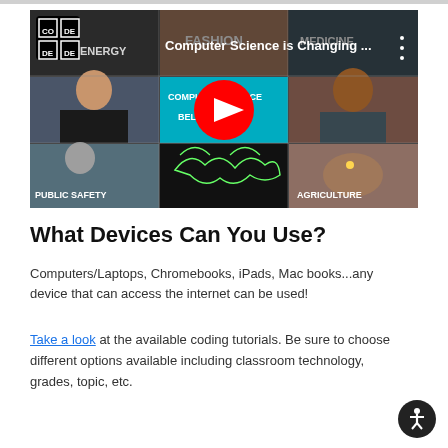[Figure (screenshot): YouTube video thumbnail showing 'Computer Science is Changing...' with a 3x3 grid of images showing topics like Fashion, Medicine, Public Safety, Agriculture, and a central YouTube play button overlay. Code.org logo visible top left.]
What Devices Can You Use?
Computers/Laptops, Chromebooks, iPads, Mac books...any device that can access the internet can be used!
Take a look at the available coding tutorials. Be sure to choose different options available including classroom technology, grades, topic, etc.